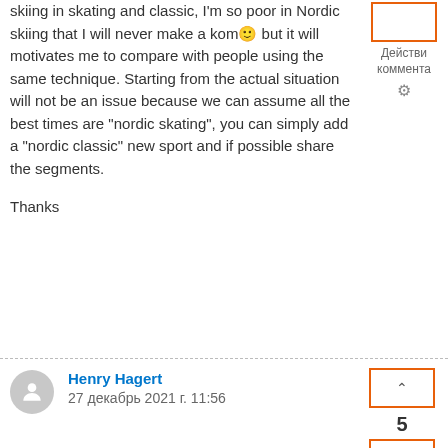skiing in skating and classic, I'm so poor in Nordic skiing that I will never make a kom🙂 but it will motivates me to compare with people using the same technique. Starting from the actual situation will not be an issue because we can assume all the best times are "nordic skating", you can simply add a "nordic classic" new sport and if possible share the segments.
Thanks
Henry Hagert
27 декабрь 2021 г. 11:56
I would like to highlight once again that what Carlos Vigo mentioned in a very first page please, keep segments just the same for both activity types e-bike and regular ride but, separate leaderboards based on activity type. This way there would not be a need to create separate e-bike segments, it would encourage people to records activities as e-bike ride instead of regular ride because all segment features would be then available like live-segments, segment search/explorer and etc.